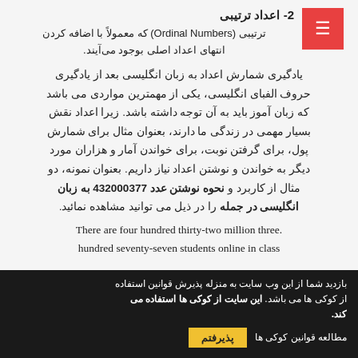2- اعداد ترتیبی
ترتیبی (Ordinal Numbers) که معمولاً با اضافه کردن انتهای اعداد اصلی بوجود می‌آیند.
یادگیری شمارش اعداد به زبان انگلیسی بعد از یادگیری حروف الفبای انگلیسی، یکی از مهمترین مواردی می باشد که زبان آموز باید به آن توجه داشته باشد. زیرا اعداد نقش بسیار مهمی در زندگی ما دارند، بعنوان مثال برای شمارش پول، برای گرفتن نوبت، برای خواندن آمار و هزاران مورد دیگر به خواندن و نوشتن اعداد نیاز داریم. بعنوان نمونه، دو مثال از کاربرد و نحوه نوشتن عدد 432000377 به زبان انگلیسی در جمله را در ذیل می توانید مشاهده نمائید.
There are four hundred thirty-two million three. hundred seventy-seven students online in class
بازدید شما از این وب سایت به منزله پذیرش قوانین استفاده از کوکی ها می باشد. این سایت از کوکی ها استفاده می کند.
مطالعه قوانین کوکی ها
پذیرفتم